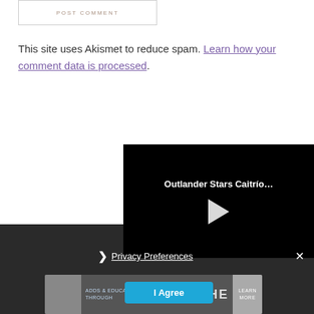POST COMMENT
This site uses Akismet to reduce spam. Learn how your comment data is processed.
[Figure (screenshot): Video player with black background showing title 'Outlander Stars Caitrío...' and a white play button triangle in center]
Privacy Preferences
I Agree